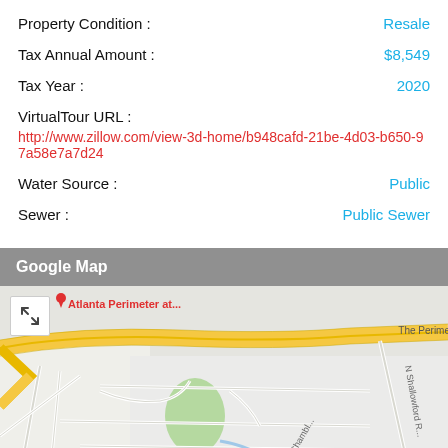Property Condition : Resale
Tax Annual Amount : $8,549
Tax Year : 2020
VirtualTour URL :
http://www.zillow.com/view-3d-home/b948cafd-21be-4d03-b650-97a58e7a7d24
Water Source : Public
Sewer : Public Sewer
Google Map
[Figure (map): Google Map showing Atlanta Perimeter area with roads including The Perimeter highway (yellow), N Shallowford Rd, Chamblee, and Nt Pkwy. Green park area visible. Map includes expand button in top-left corner and Atlanta Perimeter at... label.]